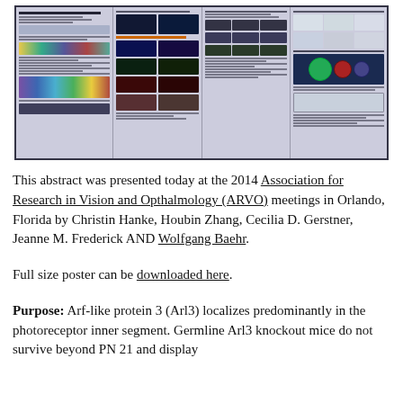[Figure (other): Thumbnail of a scientific research poster with multiple columns showing microscopy images, graphs, diagrams, and text sections related to Arl3 conditional knockout mouse model study.]
This abstract was presented today at the 2014 Association for Research in Vision and Opthalmology (ARVO) meetings in Orlando, Florida by Christin Hanke, Houbin Zhang, Cecilia D. Gerstner, Jeanne M. Frederick AND Wolfgang Baehr.
Full size poster can be downloaded here.
Purpose: Arf-like protein 3 (Arl3) localizes predominantly in the photoreceptor inner segment. Germline Arl3 knockout mice do not survive beyond PN 21 and display